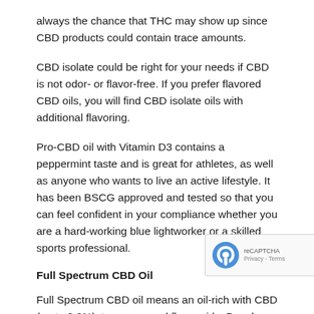always the chance that THC may show up since CBD products could contain trace amounts.
CBD isolate could be right for your needs if CBD is not odor- or flavor-free. If you prefer flavored CBD oils, you will find CBD isolate oils with additional flavoring.
Pro-CBD oil with Vitamin D3 contains a peppermint taste and is great for athletes, as well as anyone who wants to live an active lifestyle. It has been BSCG approved and tested so that you can feel confident in your compliance whether you are a hard-working blue lightworker or a skilled sports professional.
Full Spectrum CBD Oil
Full Spectrum CBD oil means an oil-rich with CBD (up to 0.2%), terpenes, and flavonoids. People prefer CBD isolate to full-spectrum CBD oil. This is because of entourage theory. This theory states that CBD and THC